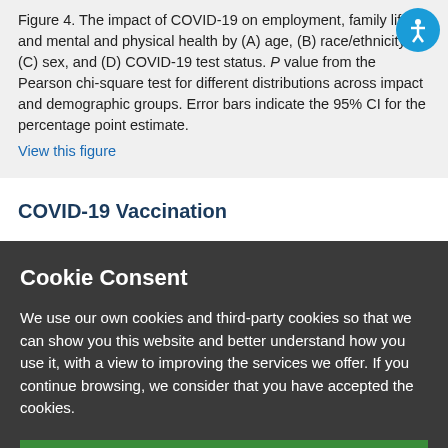Figure 4. The impact of COVID-19 on employment, family life and mental and physical health by (A) age, (B) race/ethnicity, (C) sex, and (D) COVID-19 test status. P value from the Pearson chi-square test for different distributions across impact and demographic groups. Error bars indicate the 95% CI for the percentage point estimate.
COVID-19 Vaccination
Cookie Consent
We use our own cookies and third-party cookies so that we can show you this website and better understand how you use it, with a view to improving the services we offer. If you continue browsing, we consider that you have accepted the cookies.